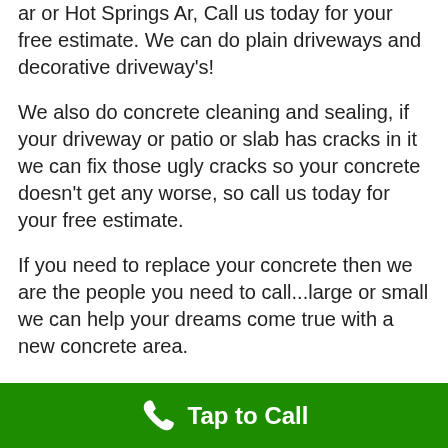ar or Hot Springs Ar, Call us today for your free estimate. We can do plain driveways and decorative driveway's!
We also do concrete cleaning and sealing, if your driveway or patio or slab has cracks in it we can fix those ugly cracks so your concrete doesn't get any worse, so call us today for your free estimate.
If you need to replace your concrete then we are the people you need to call...large or small we can help your dreams come true with a new concrete area.
For our electrical contractors out there we have started doing light pole foundations and generator pads for your next commercial job, we can tear out the old and put in brand new
Tap to Call